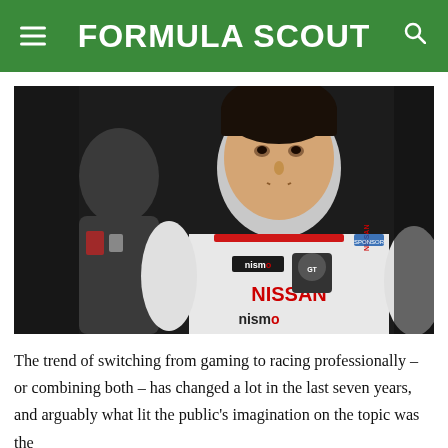FORMULA SCOUT
[Figure (photo): Young racing driver wearing a white Nissan/Nismo GT Academy racing shirt, standing in what appears to be a pit lane or paddock area. Another driver in a racing suit visible blurred in background.]
The trend of switching from gaming to racing professionally – or combining both – has changed a lot in the last seven years, and arguably what lit the public's imagination on the topic was the